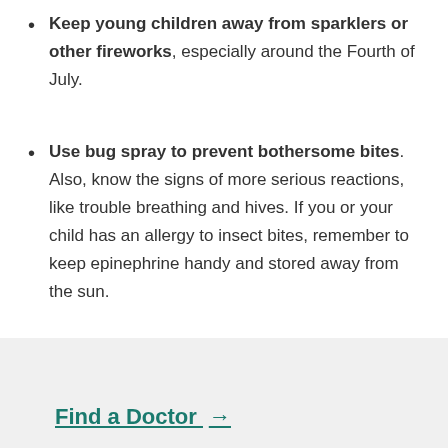Keep young children away from sparklers or other fireworks, especially around the Fourth of July.
Use bug spray to prevent bothersome bites. Also, know the signs of more serious reactions, like trouble breathing and hives. If you or your child has an allergy to insect bites, remember to keep epinephrine handy and stored away from the sun.
Find a Doctor →